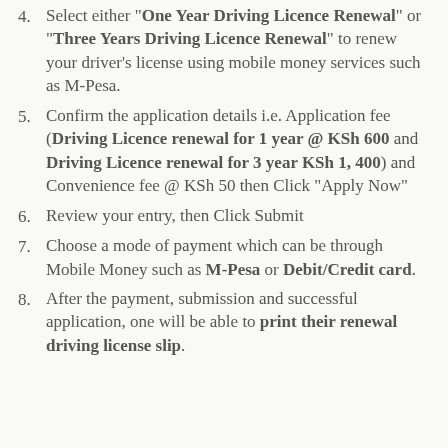Select either "One Year Driving Licence Renewal" or "Three Years Driving Licence Renewal" to renew your driver's license using mobile money services such as M-Pesa.
Confirm the application details i.e. Application fee (Driving Licence renewal for 1 year @ KSh 600 and Driving Licence renewal for 3 year KSh 1, 400) and Convenience fee @ KSh 50 then Click "Apply Now"
Review your entry, then Click Submit
Choose a mode of payment which can be through Mobile Money such as M-Pesa or Debit/Credit card.
After the payment, submission and successful application, one will be able to print their renewal driving license slip.